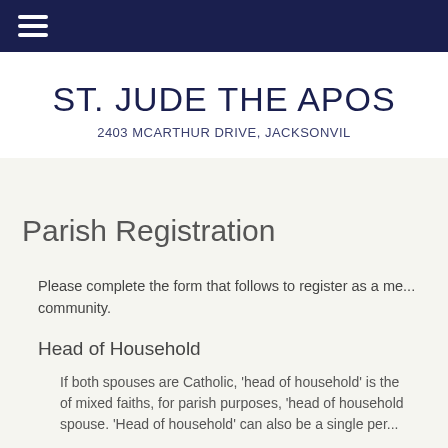≡
ST. JUDE THE APOS...
2403 MCARTHUR DRIVE, JACKSONVIL...
Parish Registration
Please complete the form that follows to register as a me... community.
Head of Household
If both spouses are Catholic, 'head of household' is the... of mixed faiths, for parish purposes, 'head of household... spouse. 'Head of household' can also be a single per...